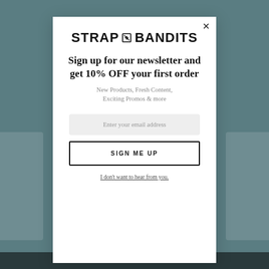[Figure (screenshot): Modal popup overlay on a teal/slate website background. The modal contains the Strap Bandits logo, newsletter signup headline, subtext, email input, sign up button, and dismiss link.]
STRAP ⊠ BANDITS
Sign up for our newsletter and get 10% OFF your first order
New Products, Fresh Content, Exciting Promos & more
Enter your email address
SIGN ME UP
I don't want to hear from you.